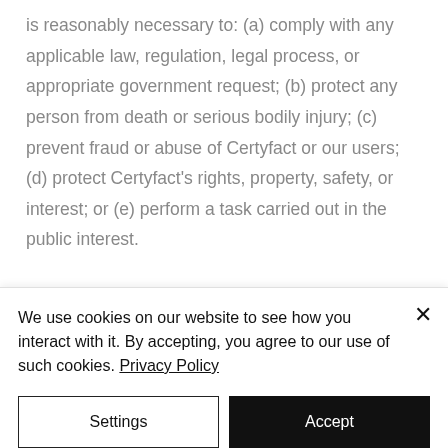is reasonably necessary to: (a) comply with any applicable law, regulation, legal process, or appropriate government request; (b) protect any person from death or serious bodily injury; (c) prevent fraud or abuse of Certyfact or our users; (d) protect Certyfact's rights, property, safety, or interest; or (e) perform a task carried out in the public interest.

Stewardship of your data is critical to us and a responsibility that we embrace. We
We use cookies on our website to see how you interact with it. By accepting, you agree to our use of such cookies. Privacy Policy
Settings
Accept